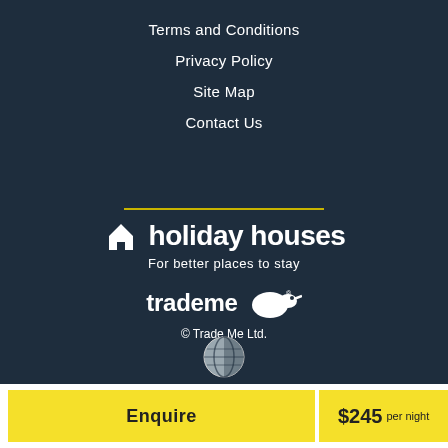Terms and Conditions
Privacy Policy
Site Map
Contact Us
[Figure (logo): Holiday Houses logo with house icon and tagline 'For better places to stay']
[Figure (logo): Trade Me logo with kiwi bird icon]
© Trade Me Ltd.
[Figure (illustration): Globe icon]
Enquire
$245 per night